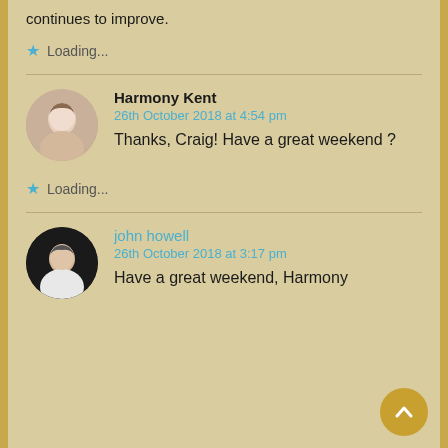continues to improve.
Loading...
Harmony Kent
26th October 2018 at 4:54 pm
Thanks, Craig! Have a great weekend ?
Loading...
john howell
26th October 2018 at 3:17 pm
Have a great weekend, Harmony